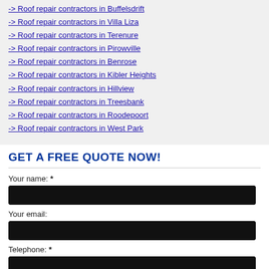-> Roof repair contractors in Buffelsdrift
-> Roof repair contractors in Villa Liza
-> Roof repair contractors in Terenure
-> Roof repair contractors in Pirowville
-> Roof repair contractors in Benrose
-> Roof repair contractors in Kibler Heights
-> Roof repair contractors in Hillview
-> Roof repair contractors in Treesbank
-> Roof repair contractors in Roodepoort
-> Roof repair contractors in West Park
GET A FREE QUOTE NOW!
Your name: *
Your email:
Telephone: *